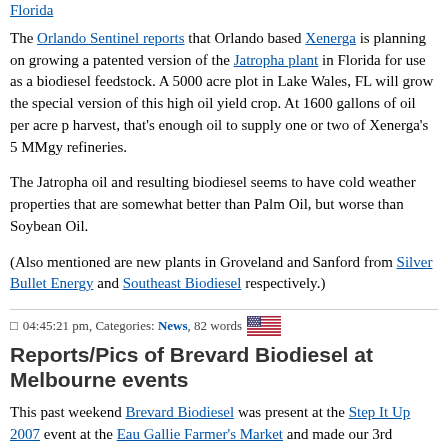Florida
The Orlando Sentinel reports that Orlando based Xenerga is planning on growing a patented version of the Jatropha plant in Florida for use as a biodiesel feedstock. A 5000 acre plot in Lake Wales, FL will grow the special version of this high oil yield crop. At 1600 gallons of oil per acre per harvest, that's enough oil to supply one or two of Xenerga's 5 MMgy refineries.
The Jatropha oil and resulting biodiesel seems to have cold weather properties that are somewhat better than Palm Oil, but worse than Soybean Oil.
(Also mentioned are new plants in Groveland and Sanford from Silver Bullet Energy and Southeast Biodiesel respectively.)
04:45:21 pm, Categories: News, 82 words
Reports/Pics of Brevard Biodiesel at Melbourne events
This past weekend Brevard Biodiesel was present at the Step It Up 2007 event at the Eau Gallie Farmer's Market and made our 3rd appearance at FIT's 3rd Annual Solar Music Fair.
We'll be back at the Eau Gallie Farmer's Market on 21 April for an Earth Day event.
Reports and Pictures:
Report/Pics from 15 April Solar Music Fair